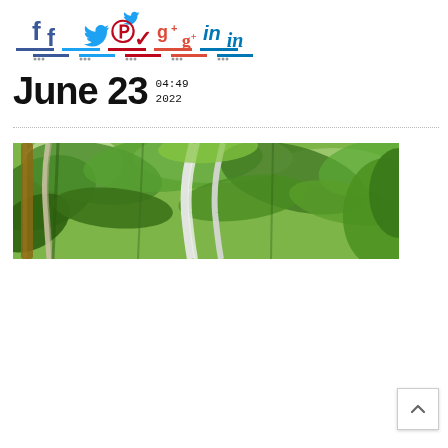[Figure (other): Social media sharing icons: Facebook (f), Twitter (bird), Pinterest (p), Google+ (g+), LinkedIn (in), each with a colored underline bar]
June 23  04:49 2022
[Figure (photo): Outdoor tropical garden scene with lush green foliage, palm trees, and white hammock or swing chair ropes in the foreground]